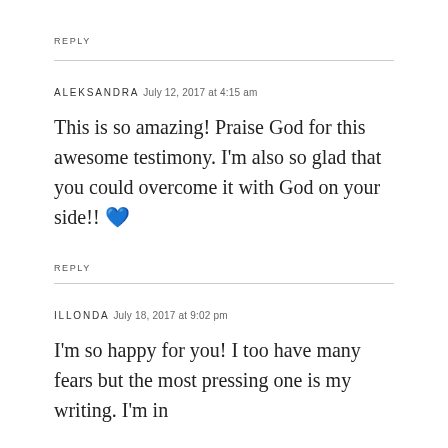REPLY
ALEKSANDRA  July 12, 2017 at 4:15 am
This is so amazing! Praise God for this awesome testimony. I'm also so glad that you could overcome it with God on your side!! 💙
REPLY
ILLONDA  July 18, 2017 at 9:02 pm
I'm so happy for you! I too have many fears but the most pressing one is my writing. I'm in